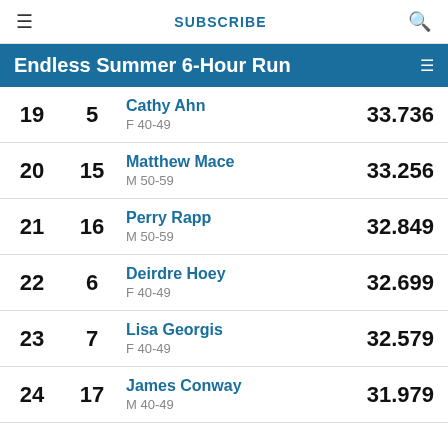SUBSCRIBE
Endless Summer 6-Hour Run
| Overall | AG | Name / Category | Score |
| --- | --- | --- | --- |
| 19 | 5 | Cathy Ahn / F 40-49 | 33.736 |
| 20 | 15 | Matthew Mace / M 50-59 | 33.256 |
| 21 | 16 | Perry Rapp / M 50-59 | 32.849 |
| 22 | 6 | Deirdre Hoey / F 40-49 | 32.699 |
| 23 | 7 | Lisa Georgis / F 40-49 | 32.579 |
| 24 | 17 | James Conway / M 40-49 | 31.979 |